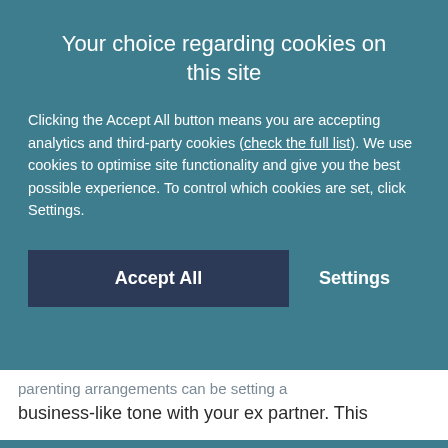Your choice regarding cookies on this site
Clicking the Accept All button means you are accepting analytics and third-party cookies (check the full list). We use cookies to optimise site functionality and give you the best possible experience. To control which cookies are set, click Settings.
Accept All   Settings
parenting arrangements can be setting a business-like tone with your ex partner. This